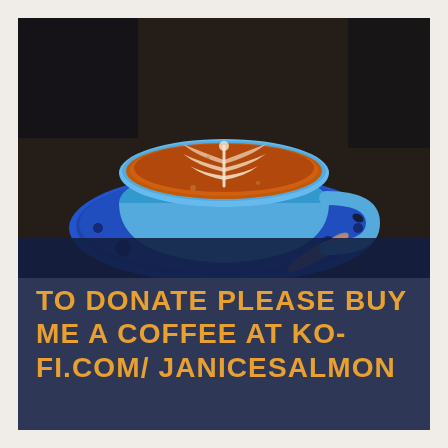[Figure (photo): Top-down photo of a latte art coffee in a blue cup on a blue saucer, set on a dark wooden table. The latte has a leaf/tulip pattern in the foam.]
TO DONATE PLEASE BUY ME A COFFEE AT KO-FI.COM/ JANICESALMON